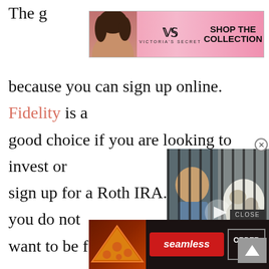The g
[Figure (photo): Victoria's Secret advertisement banner with model, VS logo, 'SHOP THE COLLECTION' text and 'SHOP NOW' button on pink background]
because you can sign up online. Fidelity is a good choice if you are looking to invest or sign up for a Roth IRA. Trust me, you do not want to be forced to wo[rk until your ]lif[e] for Social Security one [day—use time] as an advantage. Put yo[ur money into] trusted mutual funds and ride the wave of the stock market. You will have time to recov[er...]
[Figure (photo): Video overlay showing a man and a dog behind bars, with a play button in the center]
[Figure (photo): Seamless food delivery advertisement with pizza image, red Seamless logo, and 'ORDER NOW' button on dark background]